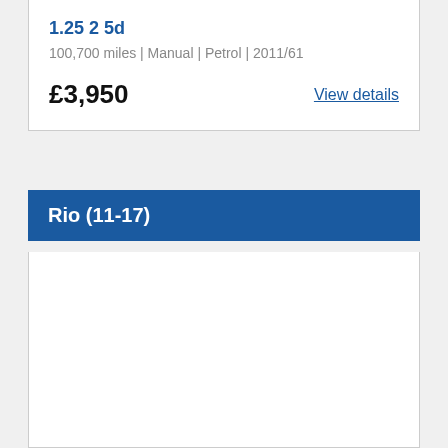1.25 2 5d
100,700 miles | Manual | Petrol | 2011/61
£3,950
View details
Rio (11-17)